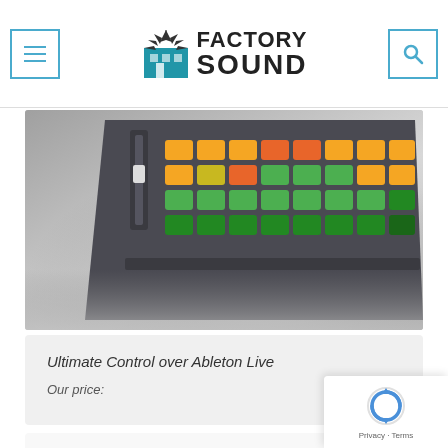Factory Sound - navigation header with menu and search buttons
[Figure (photo): Photo of a music controller/MIDI pad device (Ableton Push or similar) with colorful LED pads in orange, red, green and yellow, angled view showing top surface with pads and fader]
Ultimate Control over Ableton Live
Our price:
[Figure (other): reCAPTCHA widget showing rotating arrows logo with Privacy - Terms footer text]